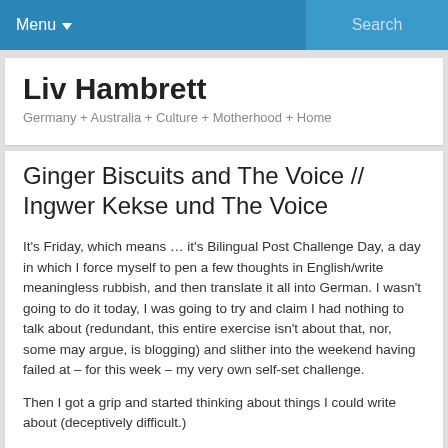Menu  Search
Liv Hambrett
Germany + Australia + Culture + Motherhood + Home
Ginger Biscuits and The Voice // Ingwer Kekse und The Voice
It's Friday, which means … it's Bilingual Post Challenge Day, a day in which I force myself to pen a few thoughts in English/write meaningless rubbish, and then translate it all into German. I wasn't going to do it today, I was going to try and claim I had nothing to talk about (redundant, this entire exercise isn't about that, nor, some may argue, is blogging) and slither into the weekend having failed at – for this week – my very own self-set challenge.
Then I got a grip and started thinking about things I could write about (deceptively difficult.)
Heute ist Freitag, also...